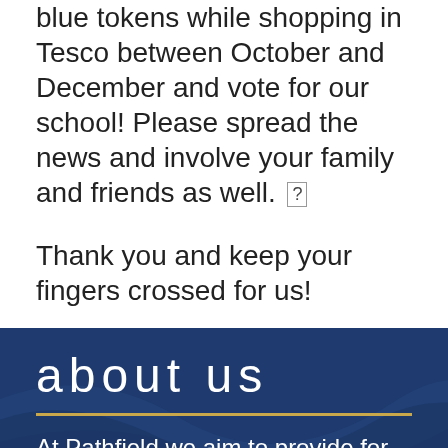blue tokens while shopping in Tesco between October and December and vote for our school! Please spread the news and involve your family and friends as well. [?]
Thank you and keep your fingers crossed for us!
about us
At Pathfield we aim to provide for the individual educational needs of